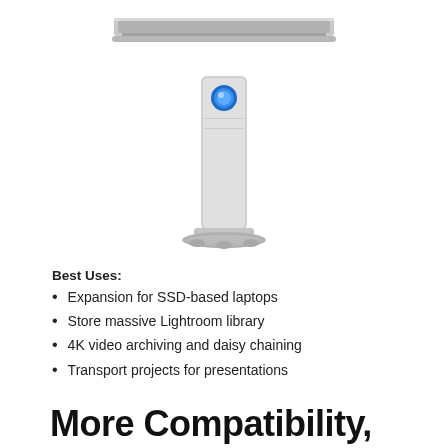[Figure (photo): Partial view of a silver laptop from above, cropped at top of page]
[Figure (photo): LaCie d2 external hard drive, tall silver rectangular device with blue LED indicator on top, standing on a curved base]
Best Uses:
Expansion for SSD-based laptops
Store massive Lightroom library
4K video archiving and daisy chaining
Transport projects for presentations
More Compatibility,